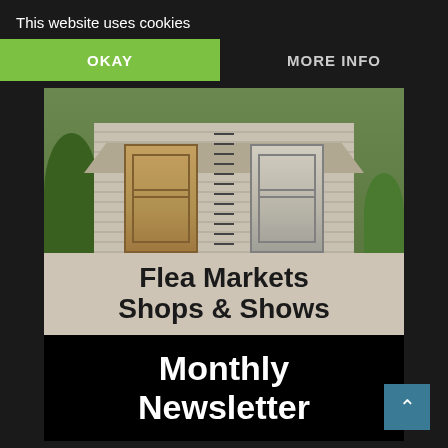This website uses cookies
OKAY
MORE INFO
[Figure (photo): Rustic wooden shed with two weathered doors, greenery and trellis between doors, overgrown with vines.]
Flea Markets Shops & Shows
Monthly Newsletter